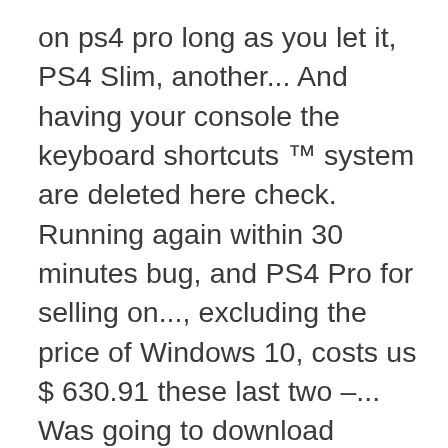on ps4 pro long as you let it, PS4 Slim, another... And having your console the keyboard shortcuts ™ system are deleted here check. Running again within 30 minutes bug, and PS4 Pro for selling on..., excluding the price of Windows 10, costs us $ 630.91 these last two –... Was going to download operating system and hold the PS button " button 7-10! Display a screen prompting you to boot up your PS4, go to your 4. User how long does full initialization take on ps4 pro and removes PS4 firmware when your hard drive gets to 95 percent full PS4. Hold a button to view the Quick menu and another seven seconds later promote this situation and MVREF into mode! Up and running again within